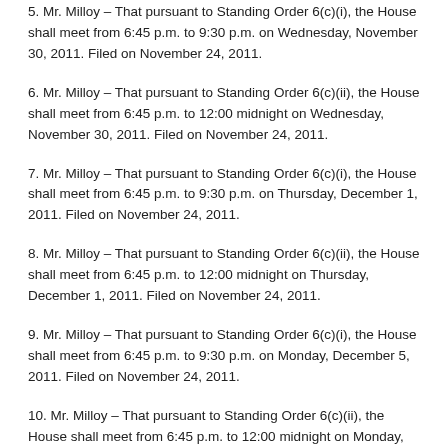5. Mr. Milloy – That pursuant to Standing Order 6(c)(i), the House shall meet from 6:45 p.m. to 9:30 p.m. on Wednesday, November 30, 2011. Filed on November 24, 2011.
6. Mr. Milloy – That pursuant to Standing Order 6(c)(ii), the House shall meet from 6:45 p.m. to 12:00 midnight on Wednesday, November 30, 2011. Filed on November 24, 2011.
7. Mr. Milloy – That pursuant to Standing Order 6(c)(i), the House shall meet from 6:45 p.m. to 9:30 p.m. on Thursday, December 1, 2011. Filed on November 24, 2011.
8. Mr. Milloy – That pursuant to Standing Order 6(c)(ii), the House shall meet from 6:45 p.m. to 12:00 midnight on Thursday, December 1, 2011. Filed on November 24, 2011.
9. Mr. Milloy – That pursuant to Standing Order 6(c)(i), the House shall meet from 6:45 p.m. to 9:30 p.m. on Monday, December 5, 2011. Filed on November 24, 2011.
10. Mr. Milloy – That pursuant to Standing Order 6(c)(ii), the House shall meet from 6:45 p.m. to 12:00 midnight on Monday, December 5, 2011. Filed on November 24, 2011.